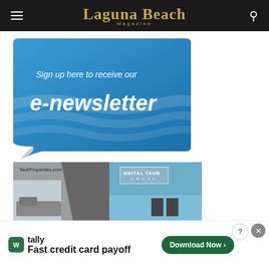Laguna Beach Magazine
[Figure (illustration): Blue sticker-shaped banner with curled bottom-left corner, reading 'Sign up here to receive our e-newsletter']
[Figure (photo): TaubProperties.com / Meital Taub Group real estate advertisement showing interior room with staircase and ocean view]
[Figure (infographic): Tally app advertisement: 'Fast credit card payoff' with Download Now button]